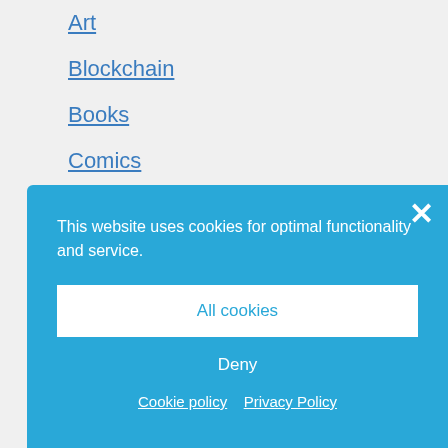Art
Blockchain
Books
Comics
Comics in Africa
Cryptocurrencies
DIY Mauritius
This website uses cookies for optimal functionality and service.
All cookies
Deny
Cookie policy  Privacy Policy